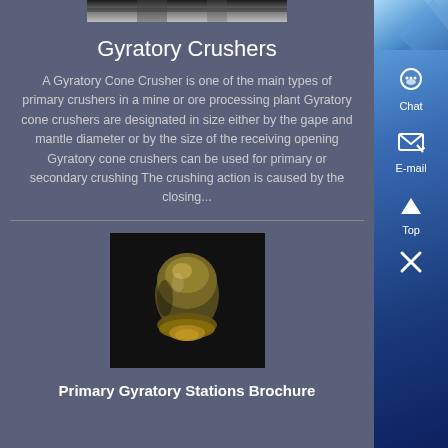[Figure (photo): Partial image of gyratory crusher machinery at top of page]
Gyratory Crushers
A Gyratory Cone Crusher is one of the main types of primary crushers in a mine or ore processing plant Gyratory cone crushers are designated in size either by the gape and mantle diameter or by the size of the receiving opening Gyratory cone crushers can be used for primary or secondary crushing The crushing action is caused by the closing...
[Figure (photo): Photo of a gyratory cone crusher component, dark background, showing metallic cone crushing mechanism]
Primary Gyratory Stations Brochure